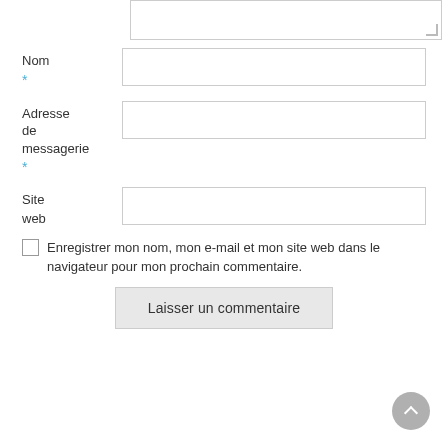[Figure (screenshot): Partial textarea input box (top of page, cropped)]
Nom
*
Adresse de messagerie
*
Site web
Enregistrer mon nom, mon e-mail et mon site web dans le navigateur pour mon prochain commentaire.
Laisser un commentaire